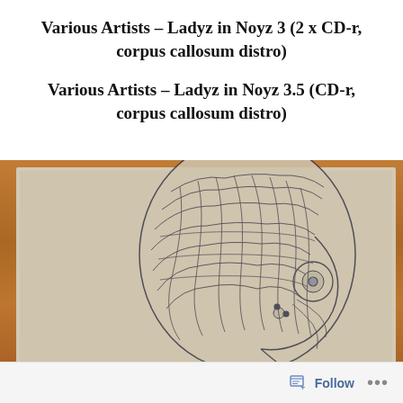Various Artists – Ladyz in Noyz 3 (2 x CD-r, corpus callosum distro)
Various Artists – Ladyz in Noyz 3.5 (CD-r, corpus callosum distro)
[Figure (photo): A cardboard/paper booklet with an anatomical illustration of a human head in profile, showing intricate nerve/vascular line work, placed on a wooden surface.]
Follow ...